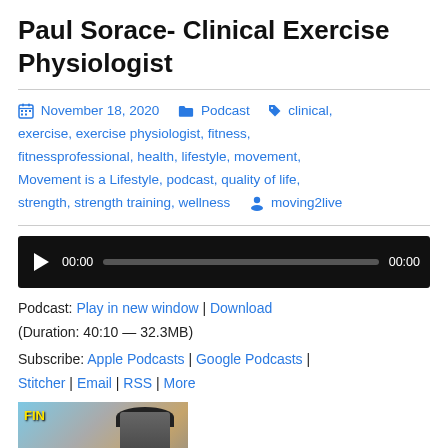Paul Sorace- Clinical Exercise Physiologist
November 18, 2020   Podcast   clinical, exercise, exercise physiologist, fitness, fitnessprofessional, health, lifestyle, movement, Movement is a Lifestyle, podcast, quality of life, strength, strength training, wellness   moving2live
[Figure (other): Audio player bar with play button, progress bar showing 00:00 / 00:00]
Podcast: Play in new window | Download
(Duration: 40:10 — 32.3MB)
Subscribe: Apple Podcasts | Google Podcasts | Stitcher | Email | RSS | More
[Figure (photo): Photo of a person wearing a hat, with a finish line banner visible in the background]